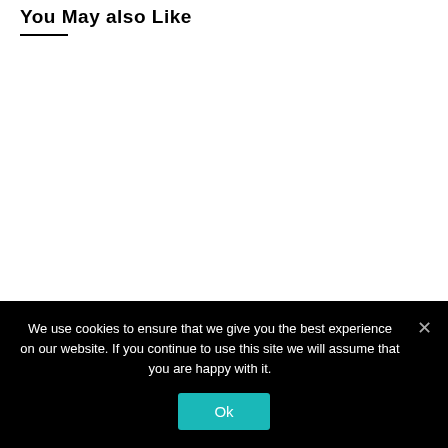You May also Like
We use cookies to ensure that we give you the best experience on our website. If you continue to use this site we will assume that you are happy with it.
Ok